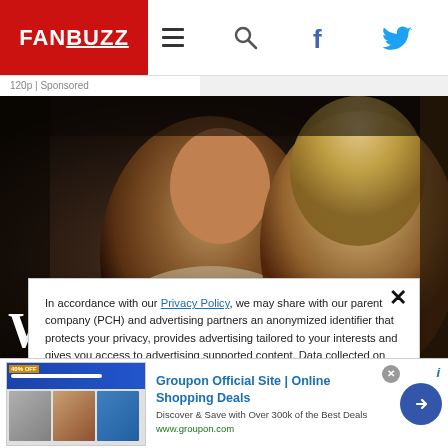[Figure (logo): FanBuzz logo in red header bar with hamburger menu, search, Facebook, and Twitter icons]
120p | Sponsored
[Figure (photo): Two people looking upward — a man in a light blazer and a woman with blonde hair, against a dark background]
In accordance with our Privacy Policy, we may share with our parent company (PCH) and advertising partners an anonymized identifier that protects your privacy, provides advertising tailored to your interests and gives you access to advertising supported content. Data collected on one of our sites may be used on our other owned and operated sites, which sites are identified in our Privacy Policy. All of our sites are governed by the same
[Figure (screenshot): Groupon advertisement banner: Groupon Official Site | Online Shopping Deals. Discover & Save with Over 300k of the Best Deals. www.groupon.com]